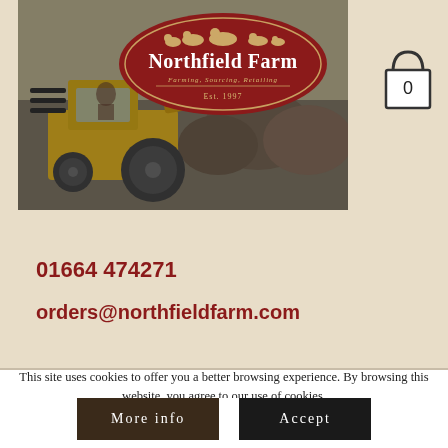[Figure (screenshot): Northfield Farm website header with a farm photo in background showing a yellow tractor/machinery, a red oval logo reading 'Northfield Farm – Farming, Sourcing, Retailing – Est. 1997', a hamburger menu icon on the left, and a shopping cart icon with '0' on the top right]
01664 474271
orders@northfieldfarm.com
This site uses cookies to offer you a better browsing experience. By browsing this website, you agree to our use of cookies.
More info
Accept